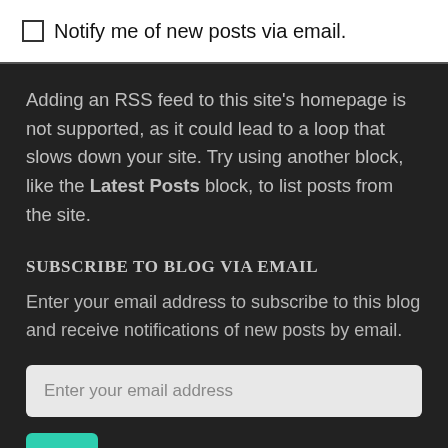Notify me of new posts via email.
Adding an RSS feed to this site’s homepage is not supported, as it could lead to a loop that slows down your site. Try using another block, like the Latest Posts block, to list posts from the site.
SUBSCRIBE TO BLOG VIA EMAIL
Enter your email address to subscribe to this blog and receive notifications of new posts by email.
Enter your email address